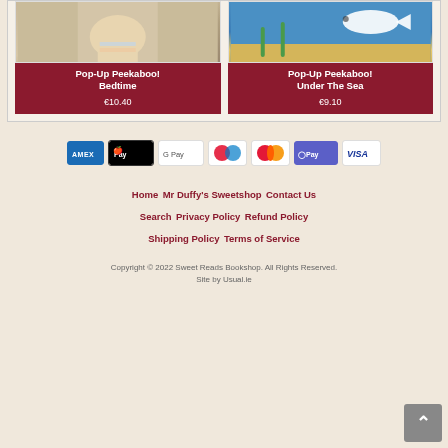[Figure (photo): Product card image for Pop-Up Peekaboo! Bedtime book, showing a child from behind against blue/beige background]
Pop-Up Peekaboo! Bedtime
€10.40
[Figure (photo): Product card image for Pop-Up Peekaboo! Under The Sea book, showing a dolphin in an underwater sea scene]
Pop-Up Peekaboo! Under The Sea
€9.10
[Figure (infographic): Payment method icons: AMEX, Apple Pay, Google Pay, Maestro, Mastercard, O Pay, Visa]
Home
Mr Duffy's Sweetshop
Contact Us
Search
Privacy Policy
Refund Policy
Shipping Policy
Terms of Service
Copyright © 2022 Sweet Reads Bookshop. All Rights Reserved.
Site by Usual.ie